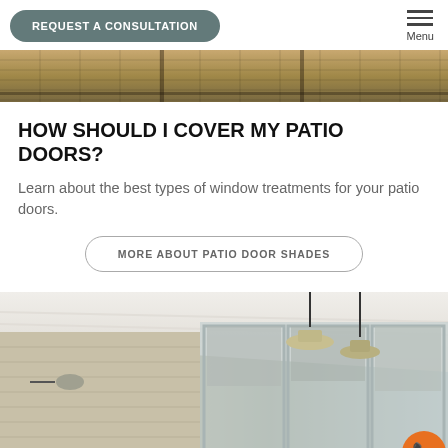REQUEST A CONSULTATION | Menu
[Figure (photo): Top partial photo showing what appears to be a woven/rattan material with dark metal frame elements, likely a patio furniture piece, cropped at bottom of nav area]
HOW SHOULD I COVER MY PATIO DOORS?
Learn about the best types of window treatments for your patio doors.
MORE ABOUT PATIO DOOR SHADES
[Figure (photo): Interior room photo showing pendant barn lights hanging from white-beamed ceiling, wood-plank walls, and large sliding glass patio doors with roller shades. An orange phone call button is in the bottom right corner.]